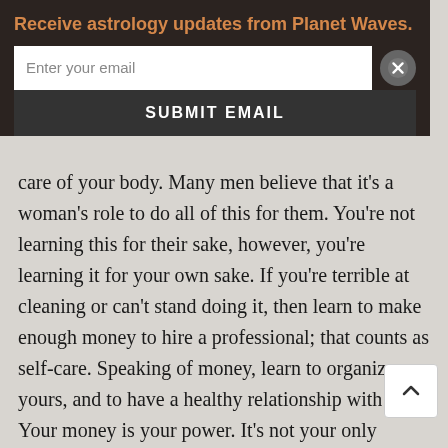Receive astrology updates from Planet Waves.
[Figure (screenshot): Email subscription form with text input field 'Enter your email', a close (X) button, and a dark 'SUBMIT EMAIL' button]
care of your body. Many men believe that it’s a woman’s role to do all of this for them. You’re not learning this for their sake, however, you’re learning it for your own sake. If you’re terrible at cleaning or can’t stand doing it, then learn to make enough money to hire a professional; that counts as self-care. Speaking of money, learn to organize yours, and to have a healthy relationship with it. Your money is your power. It’s not your only power but it’s one of the most important kinds. Know how much you have at all times, and look after it and measure every purchase on its